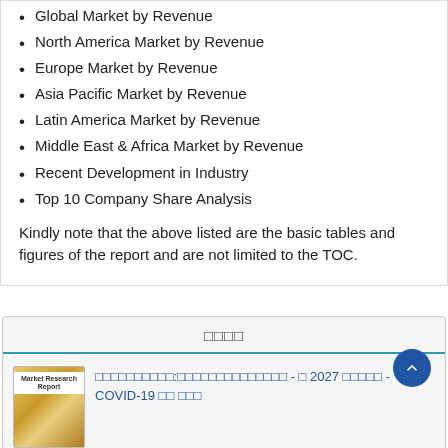Global Market by Revenue
North America Market by Revenue
Europe Market by Revenue
Asia Pacific Market by Revenue
Latin America Market by Revenue
Middle East & Africa Market by Revenue
Recent Development in Industry
Top 10 Company Share Analysis
Kindly note that the above listed are the basic tables and figures of the report and are not limited to the TOC.
□□□□
[Figure (other): Market Research Report thumbnail image with gold/yellow cover]
□□□□□□□□□□:□□□□□□□□□□□□□□ - □ 2027 □□□□□ - COVID-19 □□ □□□